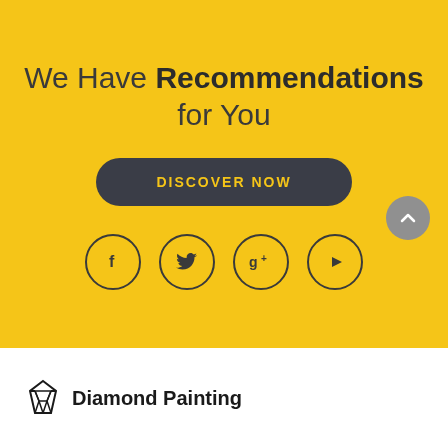We Have Recommendations for You
DISCOVER NOW
[Figure (infographic): Four social media icon circles: Facebook (f), Twitter (bird), Google+ (g+), YouTube (play button)]
[Figure (logo): Diamond Painting logo with diamond gem icon and bold text 'Diamond Painting']